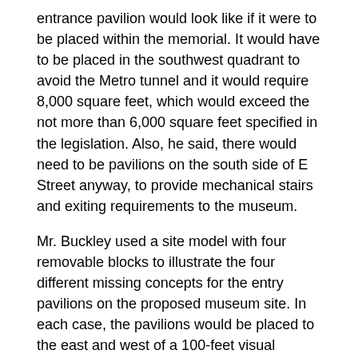entrance pavilion would look like if it were to be placed within the memorial. It would have to be placed in the southwest quadrant to avoid the Metro tunnel and it would require 8,000 square feet, which would exceed the not more than 6,000 square feet specified in the legislation. Also, he said, there would need to be pavilions on the south side of E Street anyway, to provide mechanical stairs and exiting requirements to the museum.
Mr. Buckley used a site model with four removable blocks to illustrate the four different missing concepts for the entry pavilions on the proposed museum site. In each case, the pavilions would be placed to the east and west of a 100-feet visual corridor and the height of each would be 25 feet, some 5 feet lower than the pleached trees. Each concept would have skylight elements to bring a sense of light and airiness into the space below, as a transition down into the museum. There would also be a linear water element to connect the pavilions. The idea was to make the pavilions complementary to, but not derivative of, surrounding architecture. They would be 20 feet away from the court buildings to the east and west, and the area between the pavilions and the Old City Hall would be reserved for any kind of future expansion of the Old City Hall, both above and below ground. The discussion turned towards other considerations, including parking